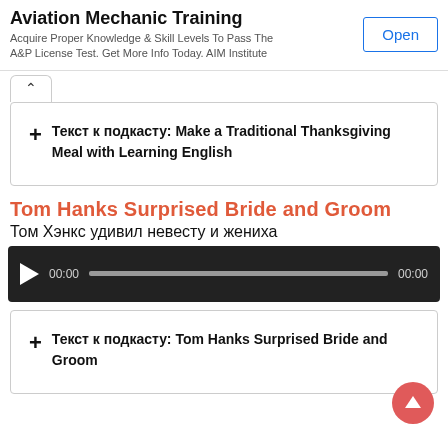[Figure (screenshot): Ad banner for Aviation Mechanic Training with Open button]
Текст к подкасту: Make a Traditional Thanksgiving Meal with Learning English
Tom Hanks Surprised Bride and Groom
Том Хэнкс удивил невесту и жениха
[Figure (screenshot): Audio player showing 00:00 / 00:00 with play button and progress bar]
Текст к подкасту: Tom Hanks Surprised Bride and Groom